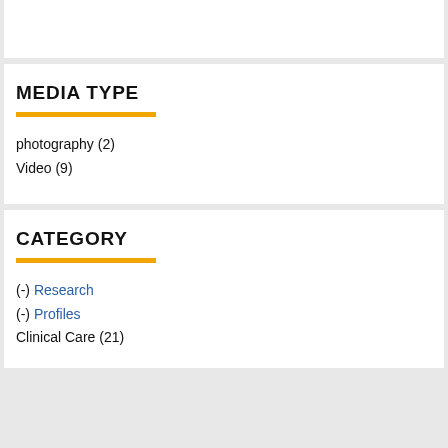MEDIA TYPE
photography (2)
Video (9)
CATEGORY
(-) Research
(-) Profiles
Clinical Care (21)